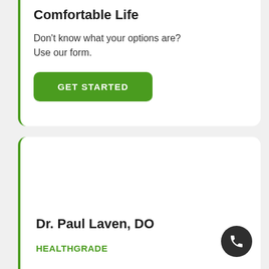Comfortable Life
Don't know what your options are? Use our form.
GET STARTED
Dr. Paul Laven, DO
HEALTHGRADE